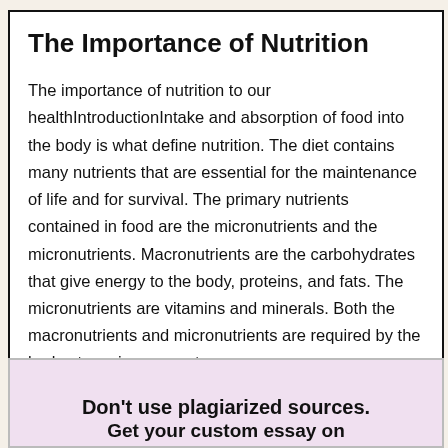The Importance of Nutrition
The importance of nutrition to our healthIntroductionIntake and absorption of food into the body is what define nutrition. The diet contains many nutrients that are essential for the maintenance of life and for survival. The primary nutrients contained in food are the micronutrients and the micronutrients. Macronutrients are the carbohydrates that give energy to the body, proteins, and fats. The micronutrients are vitamins and minerals. Both the macronutrients and micronutrients are required by the body at varying amounts.
Don't use plagiarized sources.